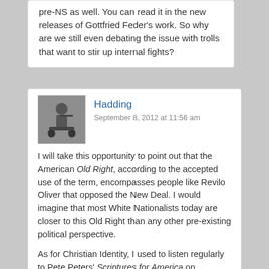pre-NS as well. You can read it in the new releases of Gottfried Feder's work. So why are we still even debating the issue with trolls that want to stir up internal fights?
Hadding
September 8, 2012 at 11:56 am
I will take this opportunity to point out that the American Old Right, according to the accepted use of the term, encompasses people like Revilo Oliver that opposed the New Deal. I would imagine that most White Nationalists today are closer to this Old Right than any other pre-existing political perspective.
As for Christian Identity, I used to listen regularly to Pete Peters' Scriptures for America on shortwave. He was very likable, and even though I didn't believe in the Bible, or agree with the arguments that he used to make it support his conclusions, the bottom line of what he said was usually good sense.